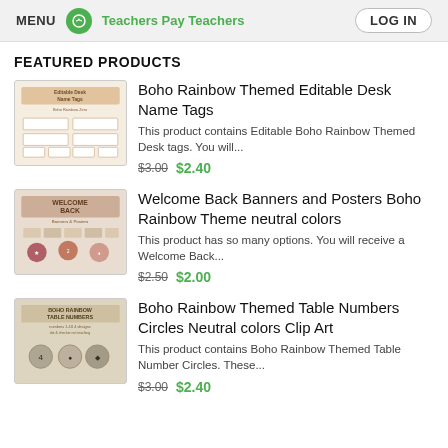MENU  Teachers Pay Teachers  LOG IN
FEATURED PRODUCTS
[Figure (photo): Thumbnail image of Boho Rainbow Themed Editable Desk Name Tags product]
Boho Rainbow Themed Editable Desk Name Tags
This product contains Editable Boho Rainbow Themed Desk tags. You will...
$3.00 $2.40
[Figure (photo): Thumbnail image of Welcome Back Banners and Posters Boho Rainbow Theme neutral colors product]
Welcome Back Banners and Posters Boho Rainbow Theme neutral colors
This product has so many options. You will receive a Welcome Back...
$2.50 $2.00
[Figure (photo): Thumbnail image of Boho Rainbow Themed Table Numbers Circles Neutral colors Clip Art product]
Boho Rainbow Themed Table Numbers Circles Neutral colors Clip Art
This product contains Boho Rainbow Themed Table Number Circles. These...
$3.00 $2.40